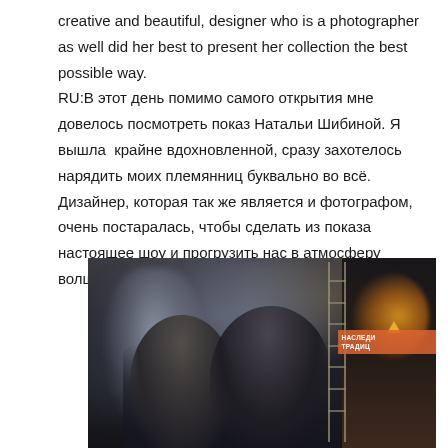creative and beautiful, designer who is a photographer as well did her best to present her collection the best possible way. RU:В этот день помимо самого открытия мне довелось посмотреть показ Натальи Шибиной. Я вышла  крайне вдохновленной, сразу захотелось нарядить моих племянниц буквально во всё. Дизайнер, которая так же является и фотографом, очень постаралась, чтобы сделать из показа настоящее шоу и прогрузить нас в атмосферу волшебства.
[Figure (photo): Dark atmospheric indoor photo showing misty figures and people at what appears to be a fashion show or exhibition. On the right side there is a sign reading НАСЛЕДИ ТРАДИЦ with orange/red background, and a decorative sunflower-like element. Two people are visible in the foreground, one with glasses and dark clothing, another with dark hair. A ladder is visible in the middle-right area.]